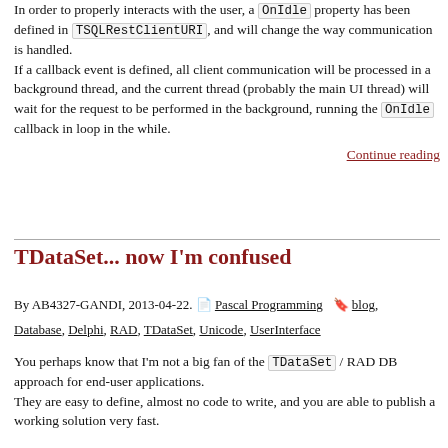In order to properly interacts with the user, a OnIdle property has been defined in TSQLRestClientURI, and will change the way communication is handled.
If a callback event is defined, all client communication will be processed in a background thread, and the current thread (probably the main UI thread) will wait for the request to be performed in the background, running the OnIdle callback in loop in the while.
Continue reading
TDataSet... now I'm confused
By AB4327-GANDI, 2013-04-22. Pascal Programming blog, Database, Delphi, RAD, TDataSet, Unicode, UserInterface
You perhaps know that I'm not a big fan of the TDataSet / RAD DB approach for end-user applications.
They are easy to define, almost no code to write, and you are able to publish a working solution very fast.